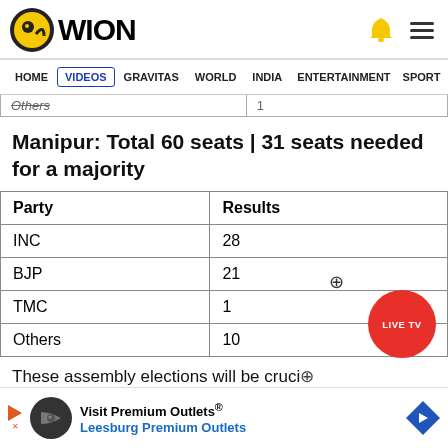[Figure (logo): WION news logo with circular icon and navigation bar showing HOME, VIDEOS, GRAVITAS, WORLD, INDIA, ENTERTAINMENT, SPORTS]
| Party | Results |
| --- | --- |
| Others | 1 |
Manipur: Total 60 seats | 31 seats needed for a majority
| Party | Results |
| --- | --- |
| INC | 28 |
| BJP | 21 |
| TMC | 1 |
| Others | 10 |
These assembly elections will be crucial only for national parties like the BJP and Congr...